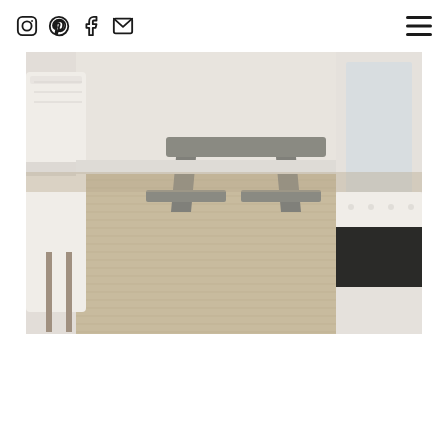Social icons (Instagram, Pinterest, Facebook, Email) and hamburger menu
[Figure (photo): Interior room photo showing a beige/natural fiber textured rug on the floor, a gray wooden bench/table in the center background, a white upholstered chair on the left, a white tufted bench on the right with dark wooden legs, and white wainscoting walls. Natural light from a window on the right.]